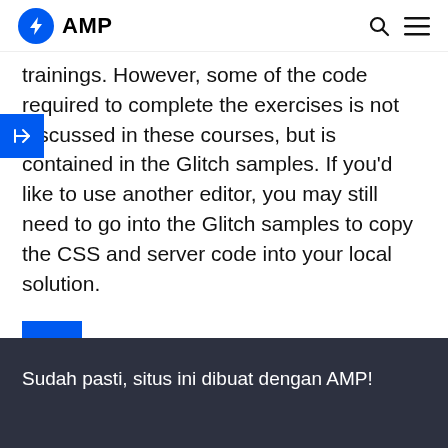AMP
trainings. However, some of the code required to complete the exercises is not discussed in these courses, but is contained in the Glitch samples. If you'd like to use another editor, you may still need to go into the Glitch samples to copy the CSS and server code into your local solution.
Bab sebelumnya
Sudah pasti, situs ini dibuat dengan AMP!